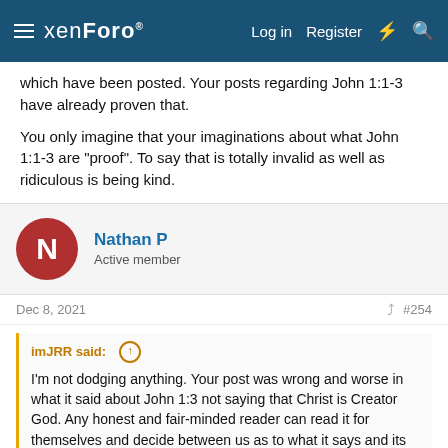xenForo · Log in · Register
which have been posted. Your posts regarding John 1:1-3 have already proven that.
You only imagine that your imaginations about what John 1:1-3 are "proof". To say that is totally invalid as well as ridiculous is being kind.
Nathan P
Active member
Dec 8, 2021  #254
imJRR said: ↑ I'm not dodging anything. Your post was wrong and worse in what it said about John 1:3 not saying that Christ is Creator God. Any honest and fair-minded reader can read it for themselves and decide between us as to what it says and its reference to Christ. Same is true for your silly notions about Rev. 1 and 22.